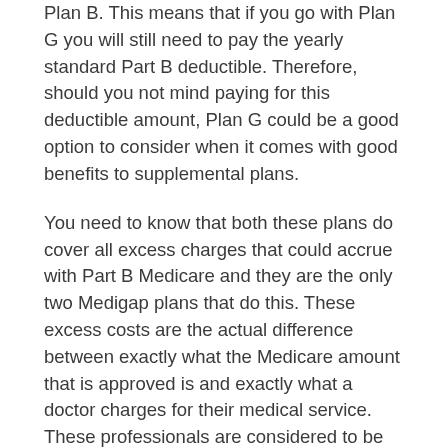Plan B. This means that if you go with Plan G you will still need to pay the yearly standard Part B deductible. Therefore, should you not mind paying for this deductible amount, Plan G could be a good option to consider when it comes with good benefits to supplemental plans.
You need to know that both these plans do cover all excess charges that could accrue with Part B Medicare and they are the only two Medigap plans that do this. These excess costs are the actual difference between exactly what the Medicare amount that is approved is and exactly what a doctor charges for their medical service. These professionals are considered to be non-participating providers plus they are allowed to charge just as much as 15% more than what Medicare allows for a certain covered medical service. This extra amount is